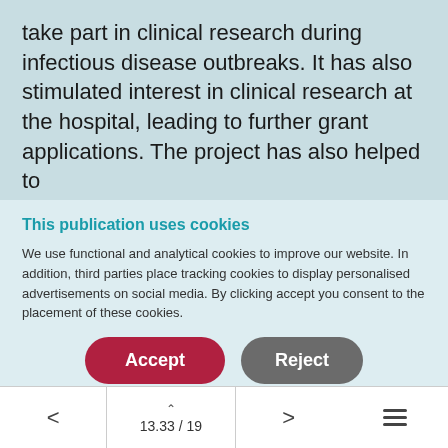take part in clinical research during infectious disease outbreaks. It has also stimulated interest in clinical research at the hospital, leading to further grant applications. The project has also helped to
This publication uses cookies
We use functional and analytical cookies to improve our website. In addition, third parties place tracking cookies to display personalised advertisements on social media. By clicking accept you consent to the placement of these cookies.
< ^ 13.33 / 19 > ≡